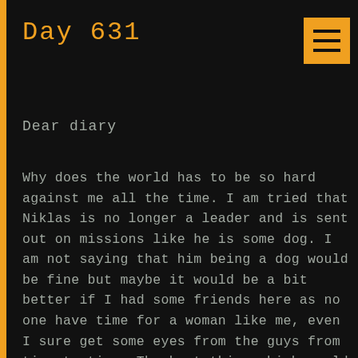Day 631
Dear diary
Why does the world has to be so hard against me all the time. I am tried that Niklas is no longer a leader and is sent out on missions like he is some dog. I am not saying that him being a dog would be fine but maybe it would be a bit better if I had some friends here as no one have time for a woman like me, even I sure get some eyes from the guys from time to time. The best thing which could happen is